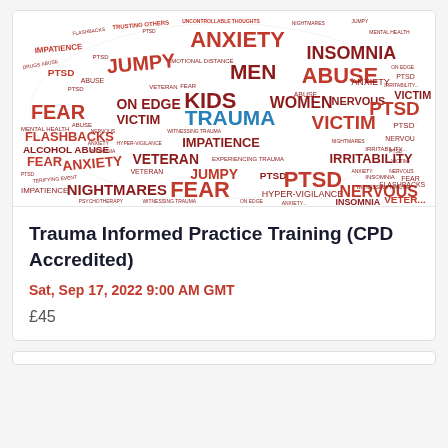[Figure (illustration): Word cloud shaped like a brain, filled with trauma-related terms in red/dark red text on white background. Central word TRAUMA is highlighted in teal/blue. Other prominent words include ANXIETY, INSOMNIA, ABUSE, PTSD, FEAR, JUMPY, VICTIM, NERVOUS, NIGHTMARES, FLASHBACKS, KIDS, WOMEN, MEN, VETERAN, IMPATIENCE, ON EDGE, IRRITABILITY, HYPER-VIGILANCE, ALCOHOL ABUSE, DRUGS ABUSE, MENTAL HEALTH, PSYCHOTHERAPY, WITNESSING TRAUMA, TERRIFYING EVENT, EMOTIONAL DISTANCE, etc.]
Trauma Informed Practice Training (CPD Accredited)
Sat, Sep 17, 2022 9:00 AM GMT
£45